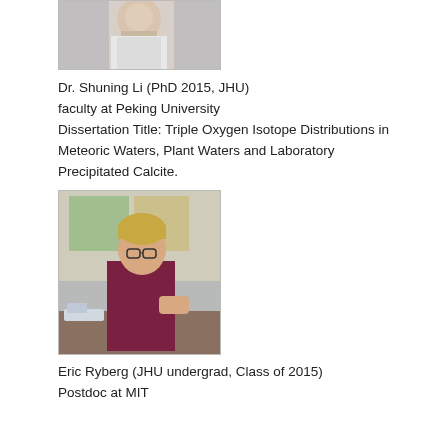[Figure (photo): Photo of Dr. Shuning Li, person in white lab coat]
Dr. Shuning Li (PhD 2015, JHU)
faculty at Peking University
Dissertation Title: Triple Oxygen Isotope Distributions in Meteoric Waters, Plant Waters and Laboratory Precipitated Calcite.
[Figure (photo): Photo of Eric Ryberg, person with short blond hair and glasses sitting at a desk in a lab setting]
Eric Ryberg (JHU undergrad, Class of 2015)
Postdoc at MIT